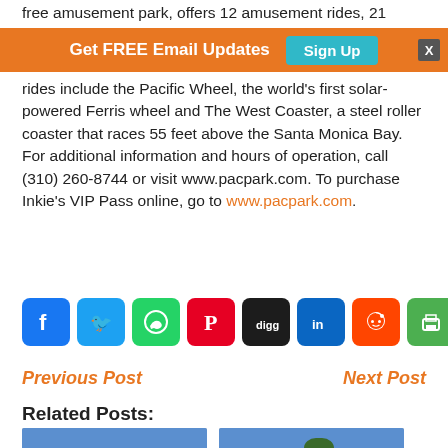free amusement park, offers 12 amusement rides, 21
[Figure (infographic): Orange banner with 'Get FREE Email Updates' text, a teal 'Sign Up' button, and a gray X close button]
rides include the Pacific Wheel, the world's first solar-powered Ferris wheel and The West Coaster, a steel roller coaster that races 55 feet above the Santa Monica Bay. For additional information and hours of operation, call (310) 260-8744 or visit www.pacpark.com. To purchase Inkie's VIP Pass online, go to www.pacpark.com.
[Figure (infographic): Row of social sharing icons: Facebook, Twitter, WhatsApp, Pinterest, Digg, LinkedIn, Reddit, Print, Share]
Previous Post
Next Post
Related Posts:
[Figure (photo): Blue sky with building/signage visible at bottom]
[Figure (photo): Blue sky with palm tree and building roof]